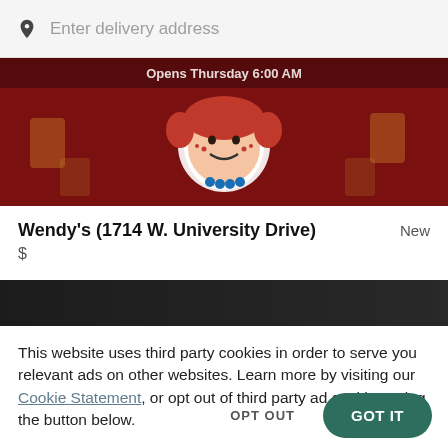Enter delivery address
[Figure (photo): Wendy's restaurant banner image with red background and Wendy's mascot logo, with overlay text 'Opens Thursday 6:00 AM']
Wendy's (1714 W. University Drive)
New
$
[Figure (photo): Dark food photo banner, partially visible]
This website uses third party cookies in order to serve you relevant ads on other websites. Learn more by visiting our Cookie Statement, or opt out of third party ad cookies using the button below.
OPT OUT
GOT IT